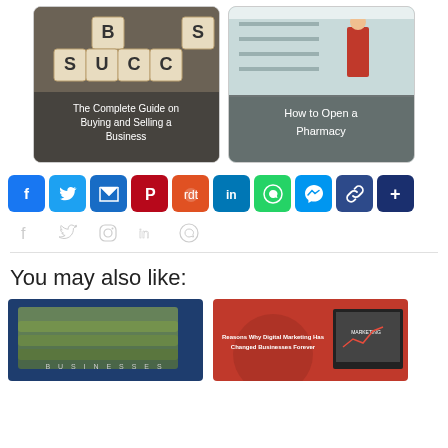[Figure (illustration): Two article card thumbnails side by side: left card shows scrabble tiles spelling SUCCESS with text overlay 'The Complete Guide on Buying and Selling a Business'; right card shows pharmacy store aisle with text overlay 'How to Open a Pharmacy']
[Figure (infographic): Row of colored social share buttons: Facebook (blue), Twitter (light blue), Email (blue), Pinterest (dark red), Reddit (orange-red), LinkedIn (blue), WhatsApp (green), Messenger (blue), Copy link (dark blue), More (dark blue)]
[Figure (infographic): Row of ghost/outline social share icons: Facebook, Twitter, Pinterest, LinkedIn, WhatsApp]
You may also like:
[Figure (photo): Article thumbnail showing stacked US dollar bills on dark blue background, partially visible text 'BUSINESSES' at bottom]
[Figure (photo): Article thumbnail showing red background with text 'Reasons Why Digital Marketing Has Changed Businesses Forever' and a laptop with marketing chart]